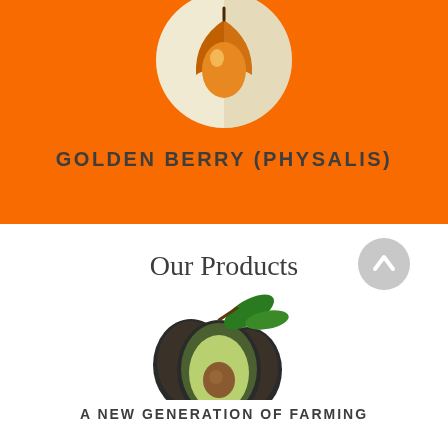[Figure (illustration): Golden berry (physalis) icon: a heart-shaped fruit illustration in orange and tan tones inside a beige circle on an orange background]
GOLDEN BERRY (PHYSALIS)
Our Products
[Figure (photo): Photo of avocados: two whole dark-skinned avocados and one halved avocado showing green flesh and brown pit, with green leaves]
A NEW GENERATION OF FARMING